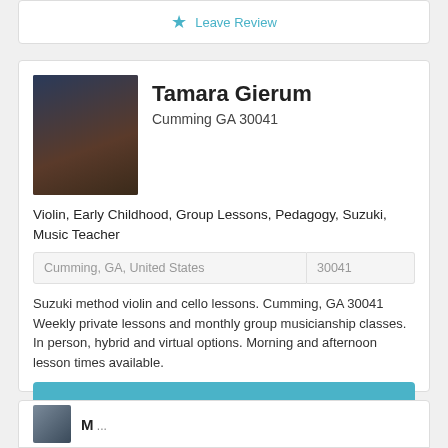[Figure (other): Partial top card with Leave Review button]
[Figure (photo): Profile photo of Tamara Gierum holding a violin, dark background]
Tamara Gierum
Cumming GA 30041
Violin, Early Childhood, Group Lessons, Pedagogy, Suzuki, Music Teacher
Cumming, GA, United States	30041
Suzuki method violin and cello lessons. Cumming, GA 30041 Weekly private lessons and monthly group musicianship classes. In person, hybrid and virtual options. Morning and afternoon lesson times available.
Email Teacher
Leave Review
[Figure (photo): Partial bottom card showing another teacher profile photo and partial name text]